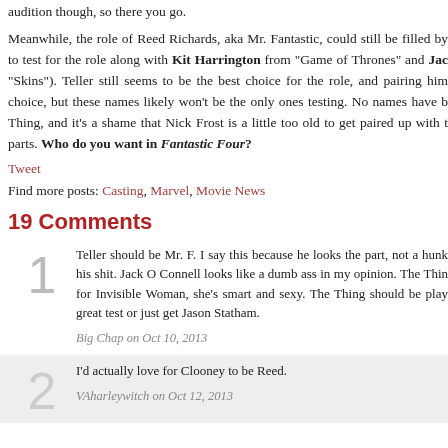audition though, so there you go.
Meanwhile, the role of Reed Richards, aka Mr. Fantastic, could still be filled by [someone] to test for the role along with Kit Harrington from "Game of Thrones" and Jac[k O'Connell from] "Skins"). Teller still seems to be the best choice for the role, and pairing him [with someone is a good] choice, but these names likely won't be the only ones testing. No names have b[een mentioned for] Thing, and it's a shame that Nick Frost is a little too old to get paired up with t[he other] parts. Who do you want in Fantastic Four?
Tweet
Find more posts: Casting, Marvel, Movie News
19 Comments
Teller should be Mr. F. I say this because he looks the part, not a hunk [but knows] his shit. Jack O Connell looks like a dumb ass in my opinion. The Thin[g... Kate Upton] for Invisible Woman, she's smart and sexy. The Thing should be play[ed by someone] great test or just get Jason Statham.
Big Chap on Oct 10, 2013
I'd actually love for Clooney to be Reed.
VAharleywitch on Oct 12, 2013